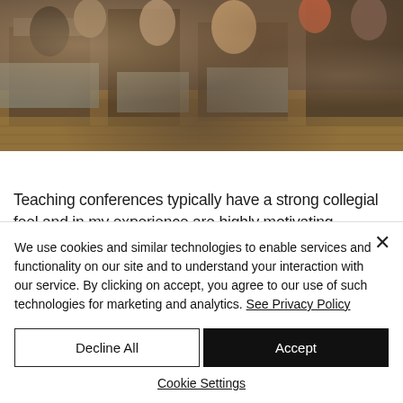[Figure (photo): Photograph of people seated at tables in a conference or event setting, viewed from behind, with patterned carpet visible on the floor.]
Teaching conferences typically have a strong collegial feel and in my experience are highly motivating. Hearing, examining, critiquing
We use cookies and similar technologies to enable services and functionality on our site and to understand your interaction with our service. By clicking on accept, you agree to our use of such technologies for marketing and analytics. See Privacy Policy
Decline All
Accept
Cookie Settings